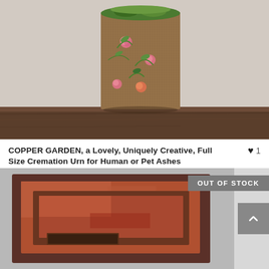[Figure (photo): A decorative cremation urn shaped like a rectangular box with floral/rose painting and green moss on top, sitting on a rustic wooden surface against a light gray background.]
COPPER GARDEN, a Lovely, Uniquely Creative, Full Size Cremation Urn for Human or Pet Ashes
♥ 1
$179.00
[Figure (photo): A copper-toned decorative cremation urn or box with dark patina, metallic texture, and bolt accents on a gray background.]
OUT OF STOCK